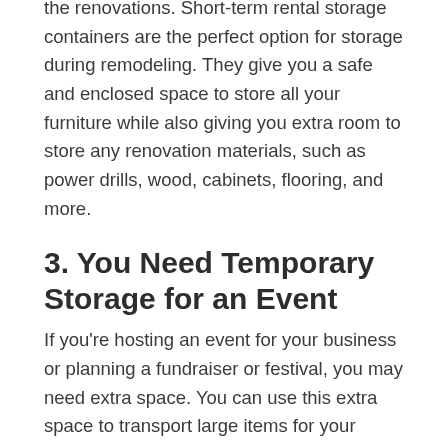the renovations. Short-term rental storage containers are the perfect option for storage during remodeling. They give you a safe and enclosed space to store all your furniture while also giving you extra room to store any renovation materials, such as power drills, wood, cabinets, flooring, and more.
3. You Need Temporary Storage for an Event
If you're hosting an event for your business or planning a fundraiser or festival, you may need extra space. You can use this extra space to transport large items for your events, such as a table, games, and activities. Or you may need it to hold supplies, such as equipment or even snacks and beverages for your event. Regardless of the situation, using a storage container for a short period could be the perfect solution.